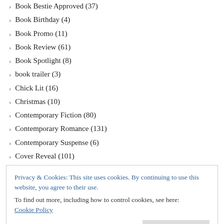Book Bestie Approved (37)
Book Birthday (4)
Book Promo (11)
Book Review (61)
Book Spotlight (8)
book trailer (3)
Chick Lit (16)
Christmas (10)
Contemporary Fiction (80)
Contemporary Romance (131)
Contemporary Suspense (6)
Cover Reveal (101)
Crime Thriller (25)
Domestic Drama (5)
Domestic Thriller (10)
Privacy & Cookies: This site uses cookies. By continuing to use this website, you agree to their use. To find out more, including how to control cookies, see here: Cookie Policy
Historical Fiction (18)